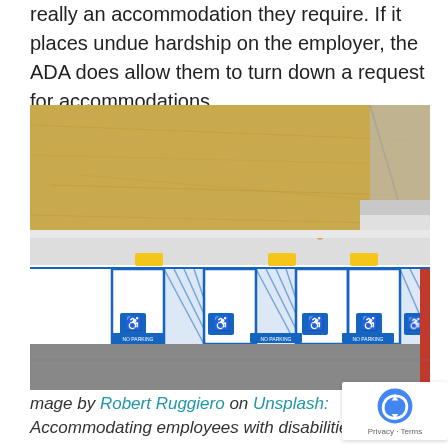really an accommodation they require. If it places undue hardship on the employer, the ADA does allow them to turn down a request for accommodations.
[Figure (photo): Aerial view of a parking lot showing several ADA-compliant accessible parking spaces marked with blue wheelchair symbols and yellow striped access aisles, bordered by a dry grass field above and a road below.]
mage by Robert Ruggiero on Unsplash: Accommodating employees with disabilities is